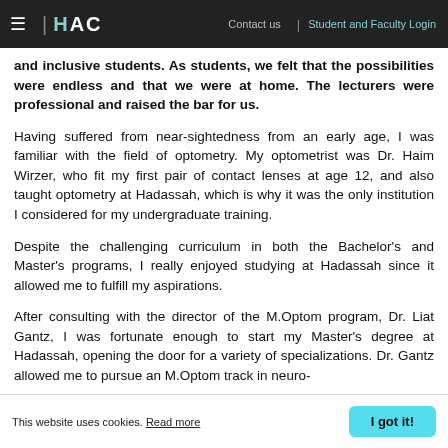≡ | HAC   Contact us | Student and Faculty Login
and inclusive students. As students, we felt that the possibilities were endless and that we were at home. The lecturers were professional and raised the bar for us.
Having suffered from near-sightedness from an early age, I was familiar with the field of optometry. My optometrist was Dr. Haim Wirzer, who fit my first pair of contact lenses at age 12, and also taught optometry at Hadassah, which is why it was the only institution I considered for my undergraduate training.
Despite the challenging curriculum in both the Bachelor's and Master's programs, I really enjoyed studying at Hadassah since it allowed me to fulfill my aspirations.
After consulting with the director of the M.Optom program, Dr. Liat Gantz, I was fortunate enough to start my Master's degree at Hadassah, opening the door for a variety of specializations. Dr. Gantz allowed me to pursue an M.Optom track in neuro- ... impaired visual
This website uses cookies. Read more   I got it!